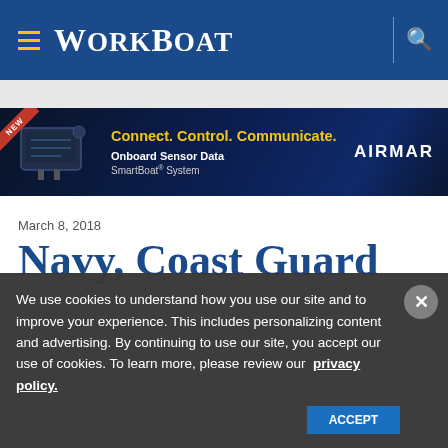WorkBoat
[Figure (infographic): AIRMAR advertisement banner: 'Connect. Control. Communicate. Onboard Sensor Data SmartBoat System' with device image and NEW tag]
March 8, 2018
Navy, Coast Guard
We use cookies to understand how you use our site and to improve your experience. This includes personalizing content and advertising. By continuing to use our site, you accept our use of cookies. To learn more, please review our privacy policy.